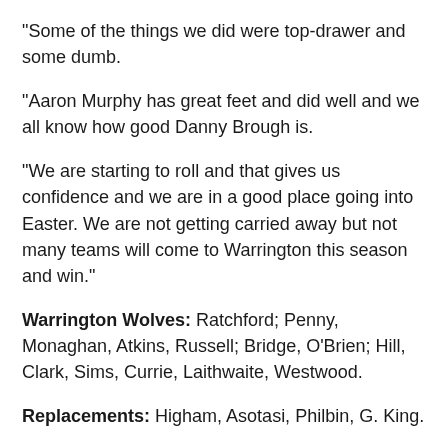"Some of the things we did were top-drawer and some dumb.
"Aaron Murphy has great feet and did well and we all know how good Danny Brough is.
"We are starting to roll and that gives us confidence and we are in a good place going into Easter. We are not getting carried away but not many teams will come to Warrington this season and win."
Warrington Wolves: Ratchford; Penny, Monaghan, Atkins, Russell; Bridge, O'Brien; Hill, Clark, Sims, Currie, Laithwaite, Westwood.
Replacements: Higham, Asotasi, Philbin, G. King.
Huddersfield: Grix; McGillvary, Cudjoe, Wardle, Murphy; Brough, Ellis; Huby, Robinson, Kopczak, Ferres, Hughes, Ta'ai.